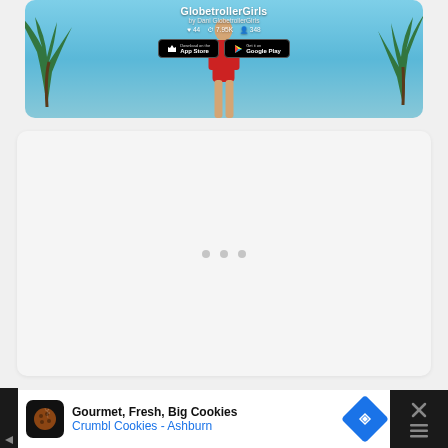[Figure (screenshot): App store card for Globetrollergirls by Dani Globetrollergirls showing stats (44 likes, 7.95K views, 348 followers) with App Store and Google Play download buttons over a tropical beach background with palm trees and a person in red]
[Figure (screenshot): White/light gray card area with three gray dots in the center, representing a loading or placeholder content area]
[Figure (screenshot): Advertisement banner at the bottom: dark background with white content area showing Crumbl Cookies - Ashburn ad with cookie chef logo, navigation arrow icon, and close button]